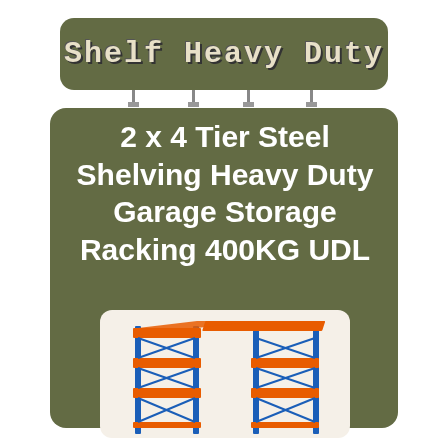Shelf Heavy Duty
2 x 4 Tier Steel Shelving Heavy Duty Garage Storage Racking 400KG UDL
[Figure (photo): Steel shelving unit with blue vertical posts and orange horizontal shelves, 4-tier heavy duty garage racking, two units shown side by side at an angle]